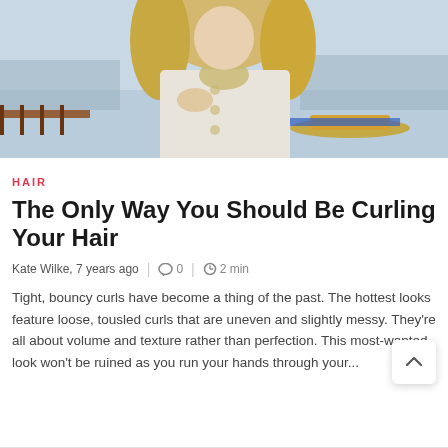[Figure (photo): Woman with long curly blonde hair wearing a white coat, standing outdoors near a waterfront with boats in the background]
HAIR
The Only Way You Should Be Curling Your Hair
Kate Wilke, 7 years ago  |  ○ 0  |  ⏱ 2 min
Tight, bouncy curls have become a thing of the past. The hottest looks feature loose, tousled curls that are uneven and slightly messy. They're all about volume and texture rather than perfection. This most-wanted look won't be ruined as you run your hands through your...